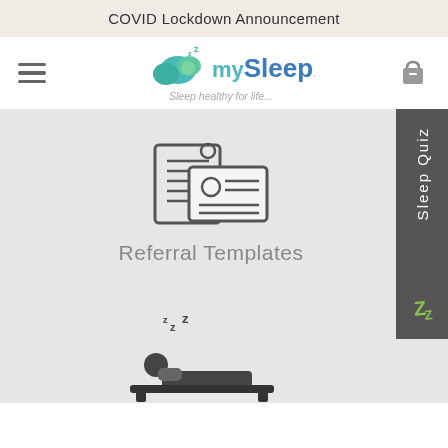COVID Lockdown Announcement
[Figure (logo): mySleep logo with cloud icon and tagline 'Sleep healthy for life...']
[Figure (illustration): Icon of referral/ID card documents]
Referral Templates
[Figure (illustration): Sleeping person in bed icon with Zzz letters]